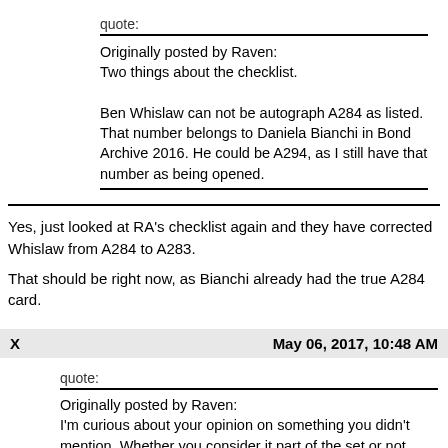quote:
Originally posted by Raven:
Two things about the checklist.

Ben Whislaw can not be autograph A284 as listed. That number belongs to Daniela Bianchi in Bond Archive 2016. He could be A294, as I still have that number as being opened.
Yes, just looked at RA's checklist again and they have corrected Whislaw from A284 to A283.
That should be right now, as Bianchi already had the true A284 card.
X	May 06, 2017, 10:48 AM
quote:
Originally posted by Raven:
I'm curious about your opinion on something you didn't mention. Whether you consider it part of the set or not, how